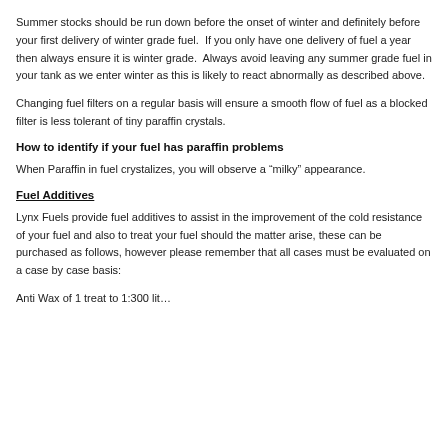Summer stocks should be run down before the onset of winter and definitely before your first delivery of winter grade fuel. If you only have one delivery of fuel a year then always ensure it is winter grade. Always avoid leaving any summer grade fuel in your tank as we enter winter as this is likely to react abnormally as described above.
Changing fuel filters on a regular basis will ensure a smooth flow of fuel as a blocked filter is less tolerant of tiny paraffin crystals.
How to identify if your fuel has paraffin problems
When Paraffin in fuel crystalizes, you will observe a “milky” appearance.
Fuel Additives
Lynx Fuels provide fuel additives to assist in the improvement of the cold resistance of your fuel and also to treat your fuel should the matter arise, these can be purchased as follows, however please remember that all cases must be evaluated on a case by case basis:
Anti Wax of 1 treat to 1:300 lit...